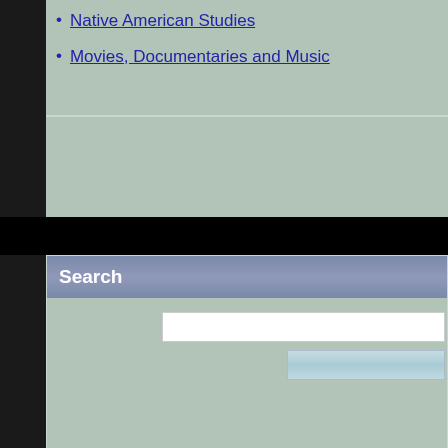Native American Studies
Movies, Documentaries and Music
Search
[Figure (screenshot): Search widget with text input field and a search button on a green-gray background]